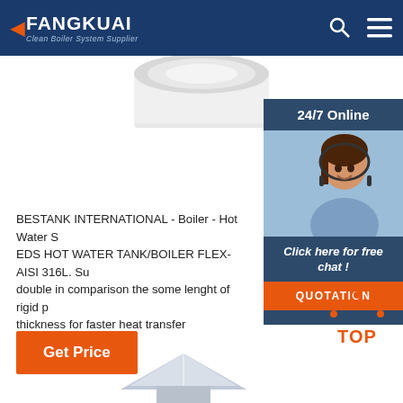FANGKUAI - Clean Boiler System Supplier
[Figure (photo): Top portion of a cylindrical boiler/water tank product, white/silver colored, visible at top of page]
[Figure (photo): Sidebar widget: 24/7 Online customer service representative (woman with headset smiling). Dark blue background header '24/7 Online', photo of agent, 'Click here for free chat!' CTA, and orange QUOTATION button.]
BESTANK INTERNATIONAL - Boiler - Hot Water System EDS HOT WATER TANK/BOILER FLEX-AISI 316L. Surface double in comparison the some lenght of rigid pipe. thickness for faster heat transfer
[Figure (other): Orange 'Get Price' button]
[Figure (logo): Orange dot-triangle TOP navigation icon with 'TOP' text in orange letters]
[Figure (photo): Bottom portion of a boiler/water heater product visible at the very bottom of the page]